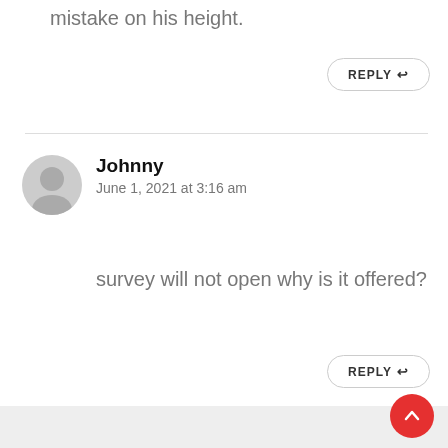mistake on his height.
REPLY
Johnny
June 1, 2021 at 3:16 am
survey will not open why is it offered?
REPLY